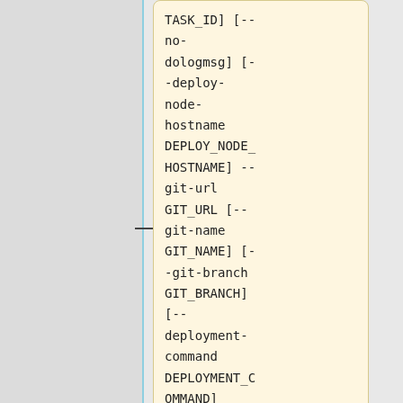[Figure (other): A documentation page showing a code/command-line reference block with a light yellow background and border. The block contains monospace text listing command-line arguments: TASK_ID] [--no-dologmsg] [--deploy-node-hostname DEPLOY_NODE_HOSTNAME] --git-url GIT_URL [--git-name GIT_NAME] [--git-branch GIT_BRANCH] [--deployment-command DEPLOYMENT_COMMAND]. A second smaller box appears below. The left portion of the page is a gray panel with a blue vertical line.]